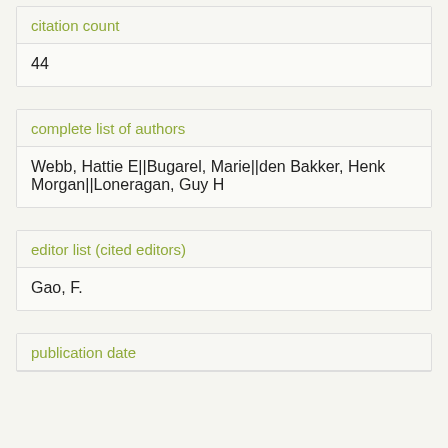citation count
44
complete list of authors
Webb, Hattie E||Bugarel, Marie||den Bakker, Henk Morgan||Loneragan, Guy H
editor list (cited editors)
Gao, F.
publication date